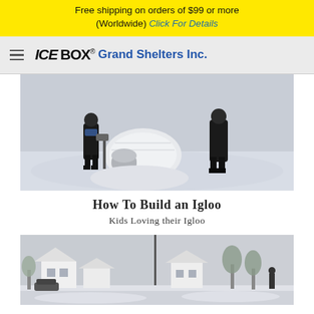Free shipping on orders of $99 or more (Worldwide) Click For Details
[Figure (logo): ICE BOX Grand Shelters Inc. logo with hamburger menu icon]
[Figure (photo): Black and white photo of kids building an igloo in the snow, two people visible standing near igloo structure]
How To Build an Igloo
Kids Loving their Igloo
[Figure (photo): Winter street scene with snow-covered houses and trees, split by a vertical dark line]